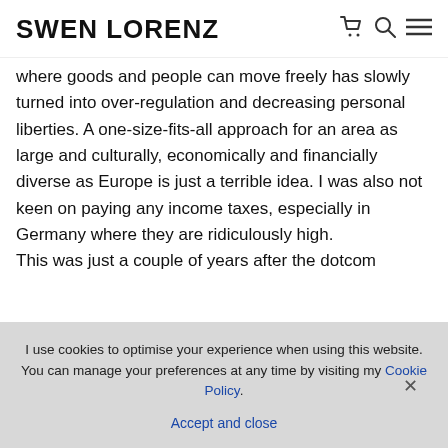SWEN LORENZ
where goods and people can move freely has slowly turned into over-regulation and decreasing personal liberties. A one-size-fits-all approach for an area as large and culturally, economically and financially diverse as Europe is just a terrible idea. I was also not keen on paying any income taxes, especially in Germany where they are ridiculously high.

This was just a couple of years after the dotcom
I use cookies to optimise your experience when using this website. You can manage your preferences at any time by visiting my Cookie Policy.
Accept and close